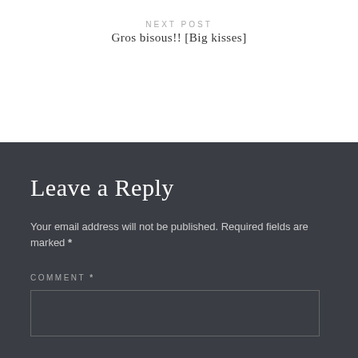NEXT POST
Gros bisous!! [Big kisses]
Leave a Reply
Your email address will not be published. Required fields are marked *
COMMENT *